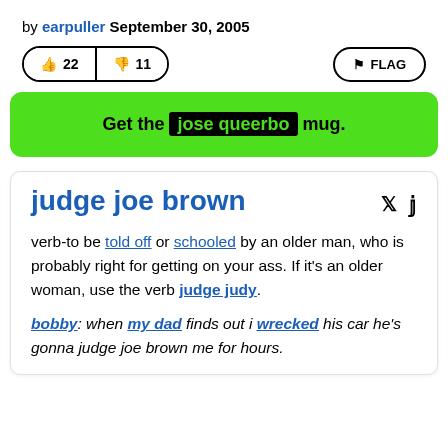by earpuller September 30, 2005
[Figure (screenshot): Vote buttons showing thumbs up 22 and thumbs down 11, and a FLAG button]
Get the jose queerbo mug.
judge joe brown
verb-to be told off or schooled by an older man, who is probably right for getting on your ass. If it's an older woman, use the verb judge judy.
bobby: when my dad finds out i wrecked his car he's gonna judge joe brown me for hours.